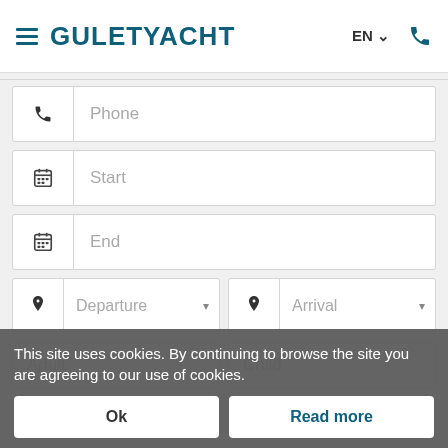GULETYACHT — EN — phone icon
[Figure (screenshot): Web form with fields: Phone, Start, End, Departure, Arrival, Adult, Child, Request for Best Offer]
This site uses cookies. By continuing to browse the site you are agreeing to our use of cookies.
Ok
Read more